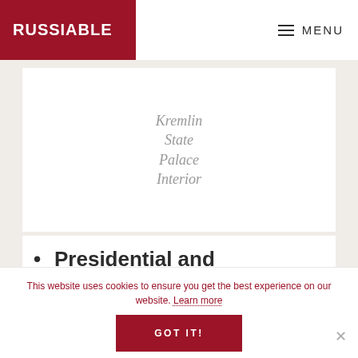RUSSIABLE — MENU
[Figure (photo): Image placeholder area with italic text reading 'Kremlin State Palace Interior' in gray italic serif font on white background]
Presidential and administrative buildings
This website uses cookies to ensure you get the best experience on our website. Learn more
GOT IT!